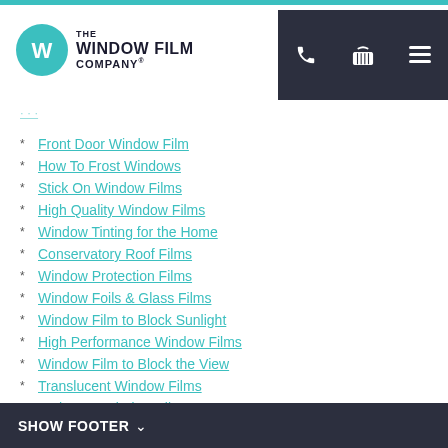[Figure (logo): The Window Film Company logo with teal circle and company name]
Front Door Window Film
How To Frost Windows
Stick On Window Films
High Quality Window Films
Window Tinting for the Home
Conservatory Roof Films
Window Protection Films
Window Foils & Glass Films
Window Film to Block Sunlight
High Performance Window Films
Window Film to Block the View
Translucent Window Films
Bathroom Window Film
Kitchen Window Film
Obscure Glass Window Film
SHOW FOOTER ∨